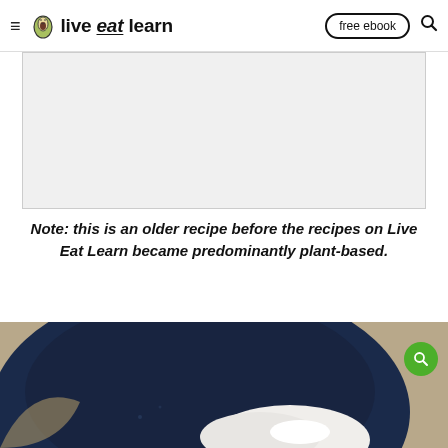live eat learn — free ebook
[Figure (other): Advertisement placeholder area, light gray rectangle]
Note: this is an older recipe before the recipes on Live Eat Learn became predominantly plant-based.
[Figure (photo): Close-up photo of a dark navy blue bowl with white cream or cheese, photographed from above on a light background. A green circular search icon is overlaid at top right.]